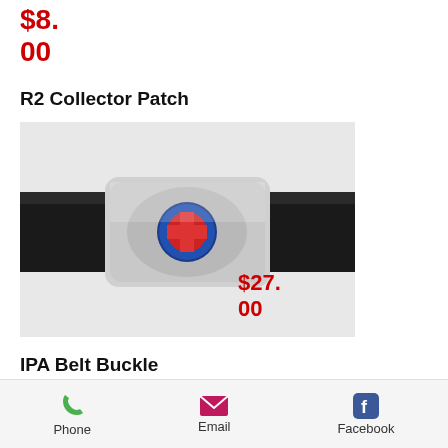$8.00
R2 Collector Patch
[Figure (photo): Photo of a silver metal belt buckle with a circular colorful emblem/patch in the center, attached to a black leather belt, on a white background. A red price overlay reads $27.00.]
IPA Belt Buckle
[Figure (photo): Partially visible next product image, shown as a gray rectangle (cut off at bottom of page).]
Phone   Email   Facebook